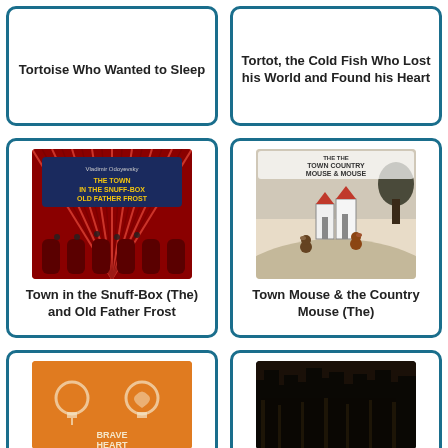Tortoise Who Wanted to Sleep
Tortot, the Cold Fish Who Lost his World and Found his Heart
[Figure (photo): Book cover of 'The Town in the Snuff-Box and Old Father Frost' showing a colorful circus/fairground scene with red striped canopies and performers]
Town in the Snuff-Box (The) and Old Father Frost
[Figure (photo): Book cover of 'The Town Mouse and the Country Mouse' showing illustrated mice characters in a stylized landscape with white houses and trees]
Town Mouse & the Country Mouse (The)
[Figure (photo): Partial book cover, orange background with lightbulb icons and text 'Brave Heart']
[Figure (photo): Partial book cover with dark forest or nature scene in black and white]